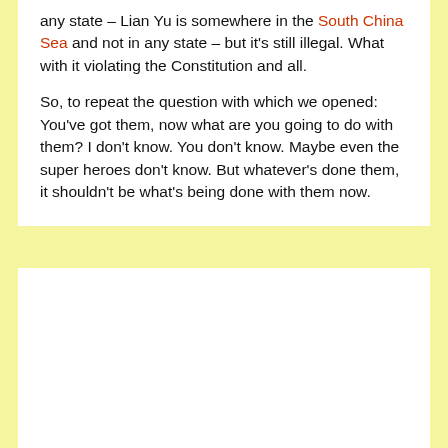any state – Lian Yu is somewhere in the South China Sea and not in any state – but it's still illegal. What with it violating the Constitution and all.
So, to repeat the question with which we opened: You've got them, now what are you going to do with them? I don't know. You don't know. Maybe even the super heroes don't know. But whatever's done them, it shouldn't be what's being done with them now.